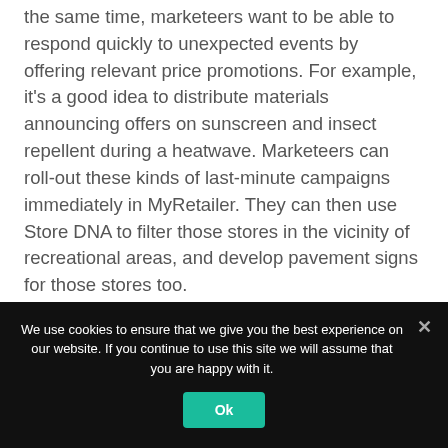the same time, marketeers want to be able to respond quickly to unexpected events by offering relevant price promotions. For example, it's a good idea to distribute materials announcing offers on sunscreen and insect repellent during a heatwave. Marketeers can roll-out these kinds of last-minute campaigns immediately in MyRetailer. They can then use Store DNA to filter those stores in the vicinity of recreational areas, and develop pavement signs for those stores too.
Marketing based on data
We use cookies to ensure that we give you the best experience on our website. If you continue to use this site we will assume that you are happy with it.